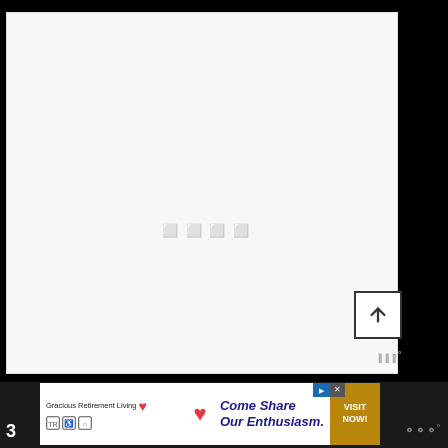[Figure (screenshot): Large light gray content area (main viewing/reading area of a web or app page), nearly blank with a faint watermark text in the center. A scroll-to-top button (arrow inside a square border) appears in the lower-right of this area. A small logo watermark appears at the bottom-right.]
[Figure (photo): Advertisement banner at the bottom: Gracious Retirement Living with a red heart logo, text 'Come Share Our Enthusiasm.' in bold dark blue italic, a gold 'VISIT NOW!' call-to-action button, and accessibility icons. Close and play/ad buttons appear at the top-right of the banner.]
3